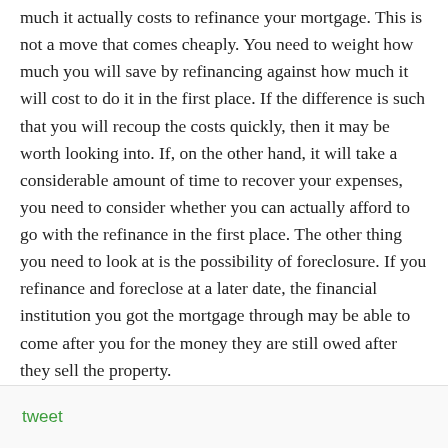much it actually costs to refinance your mortgage. This is not a move that comes cheaply. You need to weight how much you will save by refinancing against how much it will cost to do it in the first place. If the difference is such that you will recoup the costs quickly, then it may be worth looking into. If, on the other hand, it will take a considerable amount of time to recover your expenses, you need to consider whether you can actually afford to go with the refinance in the first place. The other thing you need to look at is the possibility of foreclosure. If you refinance and foreclose at a later date, the financial institution you got the mortgage through may be able to come after you for the money they are still owed after they sell the property.
tweet